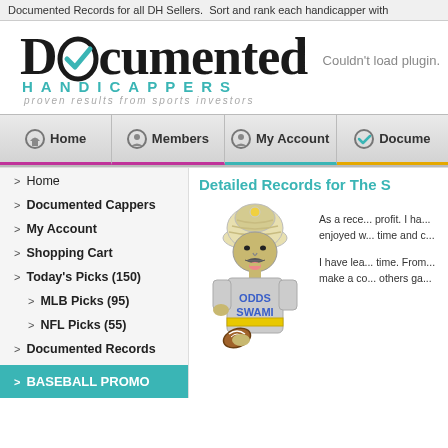Documented Records for all DH Sellers. Sort and rank each handicapper with
[Figure (logo): Documented Handicappers logo with checkmark in the O, teal HANDICAPPERS text and italic tagline 'proven results from sports investors']
Couldn't load plugin.
Home
Members
My Account
Docume...
Detailed Records for The S
Home
Documented Cappers
My Account
Shopping Cart
Today's Picks (150)
MLB Picks (95)
NFL Picks (55)
Documented Records
BASEBALL PROMO
[Figure (illustration): Cartoon illustration of Odds Swami character wearing a turban and football jersey labeled 'ODDS SWAMI', holding a football]
As a rece... profit. I ha... enjoyed w... time and c... I have lea... time. Fro... make a co... others ga...